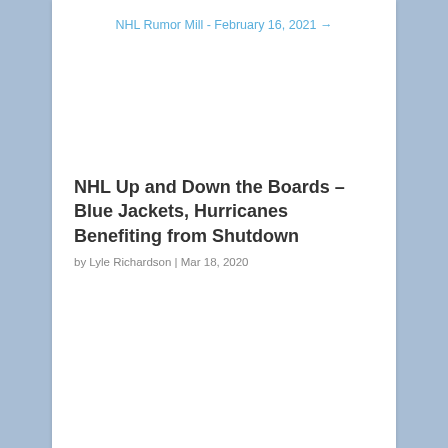NHL Rumor Mill - February 16, 2021 →
NHL Up and Down the Boards – Blue Jackets, Hurricanes Benefiting from Shutdown
by Lyle Richardson | Mar 18, 2020